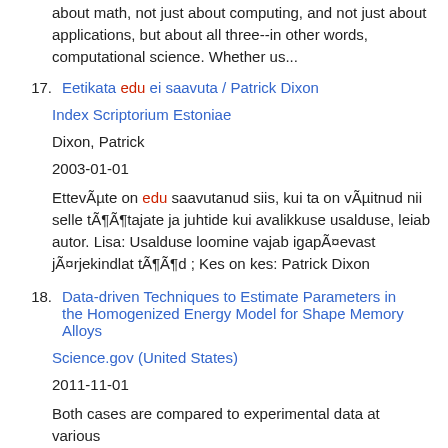about math, not just about computing, and not just about applications, but about all three--in other words, computational science. Whether us...
17. Eetikata edu ei saavuta / Patrick Dixon
Index Scriptorium Estoniae
Dixon, Patrick
2003-01-01
EttevÃµte on edu saavutanud siis, kui ta on vÃµitnud nii selle tÃ¶Ã¶tajate ja juhtide kui avalikkuse usalduse, leiab autor. Lisa: Usalduse loomine vajab igapÃ¤evast jÃ¤rjekindlat tÃ¶Ã¶d ; Kes on kes: Patrick Dixon
18. Data-driven Techniques to Estimate Parameters in the Homogenized Energy Model for Shape Memory Alloys
Science.gov (United States)
2011-11-01
Both cases are compared to experimental data at various